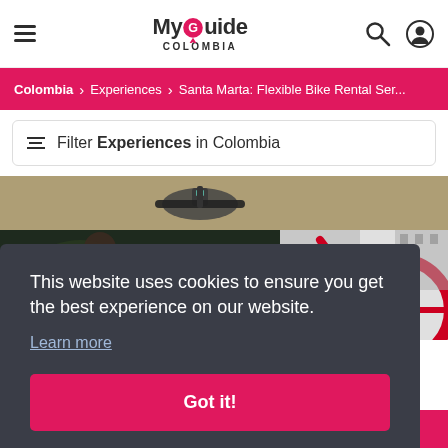MyGuide COLOMBIA
Colombia > Experiences > Santa Marta: Flexible Bike Rental Ser...
Filter Experiences in Colombia
[Figure (photo): Top of a bicycle handlebar with a device mounted, on gravel ground]
[Figure (photo): Person holding a red bicycle, blurred green background, red bicycle wheel visible on right]
This website uses cookies to ensure you get the best experience on our website. Learn more
Got it!